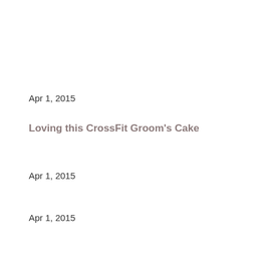Apr 1, 2015
Loving this CrossFit Groom's Cake
Apr 1, 2015
Apr 1, 2015